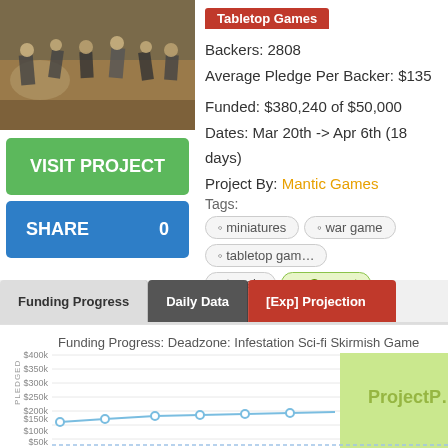[Figure (photo): Photo of miniature figures/models on a terrain base, appearing to be tabletop war game miniatures]
VISIT PROJECT
SHARE  0
Tabletop Games
Backers: 2808
Average Pledge Per Backer: $135
Funded: $380,240 of $50,000
Dates: Mar 20th -> Apr 6th (18 days)
Project By: Mantic Games
Tags:
miniatures
war game
tabletop game
terrain
+Suggest
Funding Progress
Daily Data
[Exp] Projection
[Figure (line-chart): Line chart showing funding progress over time with values starting around $150K and rising to about $190K, with a dashed baseline around $50K. Green shaded projection area on right side.]